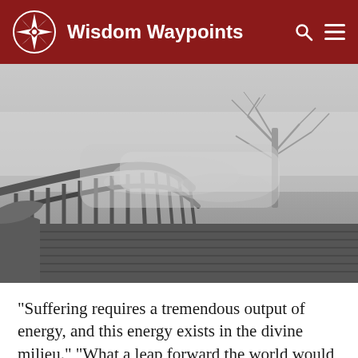Wisdom Waypoints
[Figure (photo): A curved wooden boardwalk or bridge disappearing into fog, with misty atmosphere and a bare tree visible in the background. Black and white / desaturated moody photograph.]
“Suffering requires a tremendous output of energy, and this energy exists in the divine milieu.” “What a leap forward the world would